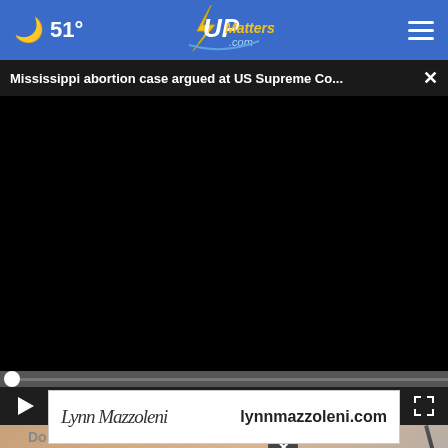51° UPMatters.com
Mississippi abortion case argued at US Supreme Co... ×
[Figure (screenshot): Video player showing black screen with playback controls, progress bar, play button, mute button, time 00:00, and fullscreen button]
[Figure (screenshot): Advertisement banner showing a handwritten signature 'Lynn Mazzoleni' and the text lynnmazzoleni.com]
Do V
Loo